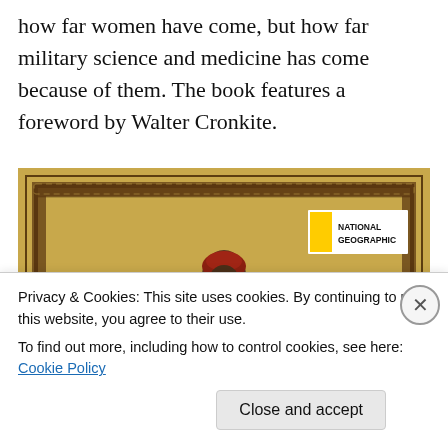how far women have come, but how far military science and medicine has come because of them. The book features a foreword by Walter Cronkite.
[Figure (illustration): A National Geographic image showing a historical illustration on a golden/tan background. A figure dressed in dark historical clothing with a red head covering stands in the center. A decorative border frames the image. The National Geographic logo and text appear in the upper right corner.]
Privacy & Cookies: This site uses cookies. By continuing to use this website, you agree to their use.
To find out more, including how to control cookies, see here: Cookie Policy